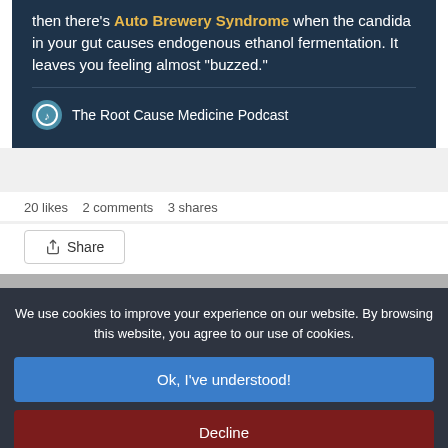[Figure (screenshot): Social media post card with dark navy background showing text about Auto Brewery Syndrome with The Root Cause Medicine Podcast branding]
20 likes  2 comments  3 shares
Share
We use cookies to improve your experience on our website. By browsing this website, you agree to our use of cookies.
Ok, I've understood!
Decline
More Info